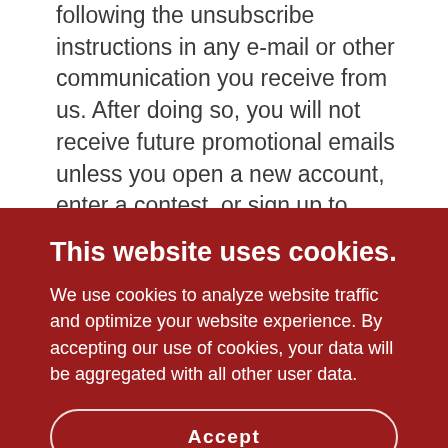following the unsubscribe instructions in any e-mail or other communication you receive from us. After doing so, you will not receive future promotional emails unless you open a new account, enter a contest, or sign up to receive newsletters or emails. You may also continue to receive non-marketing communications about your account or purchases that you have made. Please allow up to 2 weeks to process your request. We also participate in interest-based or behavioral advertising. This means that you may receive advertising on our website or other websites that
This website uses cookies.
We use cookies to analyze website traffic and optimize your website experience. By accepting our use of cookies, your data will be aggregated with all other user data.
Accept